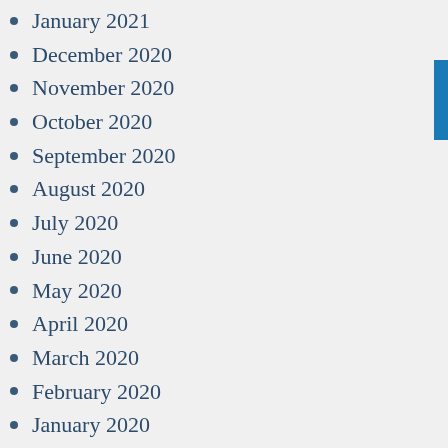January 2021
December 2020
November 2020
October 2020
September 2020
August 2020
July 2020
June 2020
May 2020
April 2020
March 2020
February 2020
January 2020
December 2019
November 2019
October 2019
September 2019
August 2019
July 2019